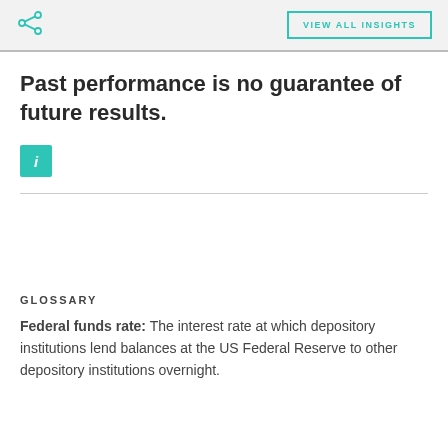VIEW ALL INSIGHTS
Past performance is no guarantee of future results.
[Figure (infographic): Teal square info icon with letter i]
GLOSSARY
Federal funds rate: The interest rate at which depository institutions lend balances at the US Federal Reserve to other depository institutions overnight.